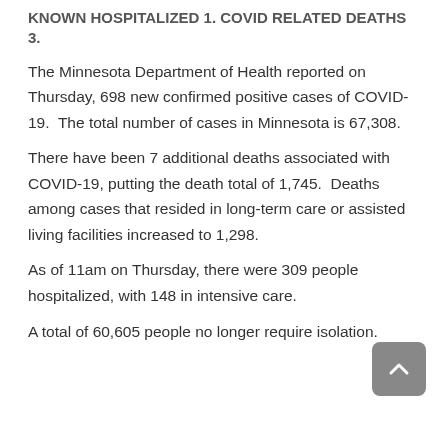KNOWN HOSPITALIZED 1. COVID RELATED DEATHS 3.
The Minnesota Department of Health reported on Thursday, 698 new confirmed positive cases of COVID-19.  The total number of cases in Minnesota is 67,308.
There have been 7 additional deaths associated with COVID-19, putting the death total of 1,745.  Deaths among cases that resided in long-term care or assisted living facilities increased to 1,298.
As of 11am on Thursday, there were 309 people hospitalized, with 148 in intensive care.
A total of 60,605 people no longer require isolation.